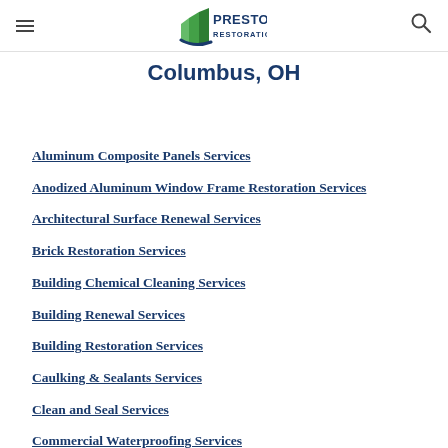Presto Restoration - Columbus, OH
Columbus, OH
Aluminum Composite Panels Services
Anodized Aluminum Window Frame Restoration Services
Architectural Surface Renewal Services
Brick Restoration Services
Building Chemical Cleaning Services
Building Renewal Services
Building Restoration Services
Caulking & Sealants Services
Clean and Seal Services
Commercial Waterproofing Services